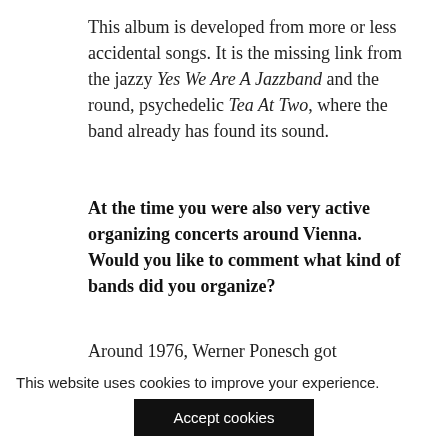This album is developed from more or less accidental songs. It is the missing link from the jazzy Yes We Are A Jazzband and the round, psychedelic Tea At Two, where the band already has found its sound.
At the time you were also very active organizing concerts around Vienna. Would you like to comment what kind of bands did you organize?
Around 1976, Werner Ponesch got acquainted with German rock bands. He often organised
This website uses cookies to improve your experience.